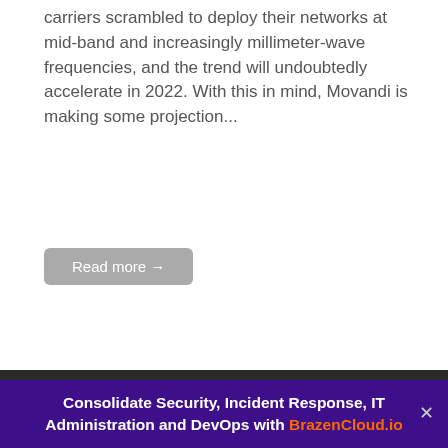carriers scrambled to deploy their networks at mid-band and increasingly millimeter-wave frequencies, and the trend will undoubtedly accelerate in 2022. With this in mind, Movandi is making some projection...
Read more →
GLOBAL SECURITY NEWS, NORTH AMERICA
Wireless 5G connections to exceed 540 million by the end of the year
by Help Net Security • December 23, 2021
Global wireless 5G connections have reached 438...
Consolidate Security, Incident Response, IT Administration and DevOps with BrazenCloud.io